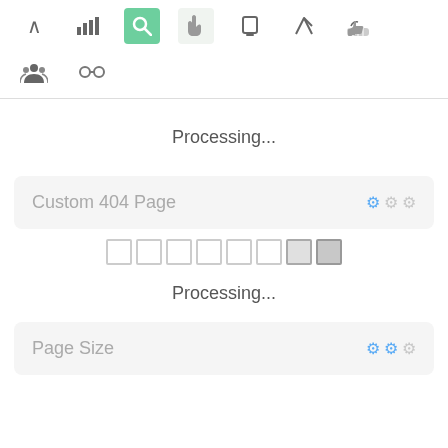[Figure (screenshot): Toolbar row with icons: chevron up, bar chart, search (active green), pointer/cursor (light background), mobile, send/rocket, thumbs up]
[Figure (screenshot): Second toolbar row with icons: group/users, chain/link]
Processing...
[Figure (screenshot): Card panel labeled 'Custom 404 Page' with gear icons on right]
[Figure (screenshot): Progress squares row - 8 squares getting progressively darker]
Processing...
[Figure (screenshot): Card panel labeled 'Page Size' with gear icons on right]